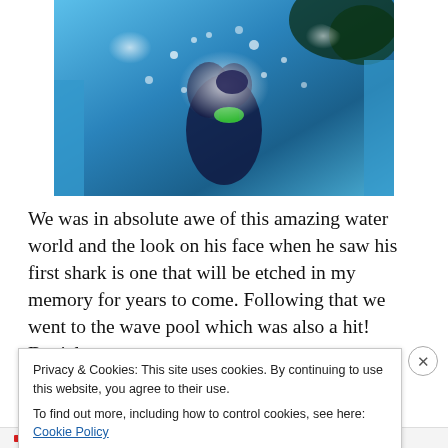[Figure (photo): Two people (child and adult) splashing in a water park wave pool or water slide, water spraying around them, child appears excited]
We was in absolute awe of this amazing water world and the look on his face when he saw his first shark is one that will be etched in my memory for years to come. Following that we went to the wave pool which was also a hit! Daniel
Privacy & Cookies: This site uses cookies. By continuing to use this website, you agree to their use.
To find out more, including how to control cookies, see here: Cookie Policy